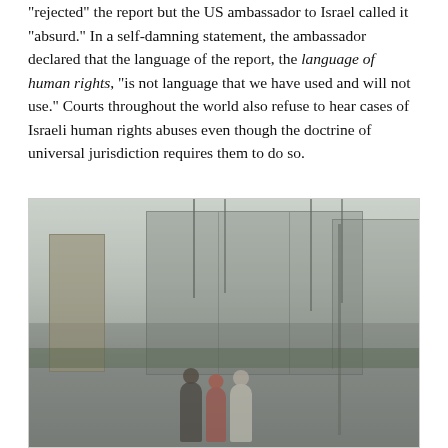“rejected” the report but the US ambassador to Israel called it “absurd.” In a self-damning statement, the ambassador declared that the language of the report, the language of human rights, “is not language that we have used and will not use.” Courts throughout the world also refuse to hear cases of Israeli human rights abuses even though the doctrine of universal jurisdiction requires them to do so.
[Figure (photo): Photograph showing three figures standing with their backs to the camera in the foreground, facing a large industrial checkpoint or barrier facility with scaffolding structures, watchtower, and tall masts in a hazy atmosphere.]